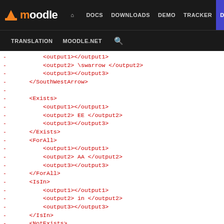[Figure (screenshot): Moodle developer site navigation bar with logo, DOCS, DOWNLOADS, DEMO, TRACKER, DEV (active/highlighted), TRANSLATION, MOODLE.NET, and search icon links on dark background]
- <output1></output1>
- <output2> \swarrow </output2>
- <output3></output3>
- </SouthWestArrow>
-
- <Exists>
-     <output1></output1>
-     <output2> EE </output2>
-     <output3></output3>
- </Exists>
- <ForAll>
-     <output1></output1>
-     <output2> AA </output2>
-     <output3></output3>
- </ForAll>
- <IsIn>
-     <output1></output1>
-     <output2> in </output2>
-     <output3></output3>
- </IsIn>
- <NotExists>
-     <output1></output1>
-     <output2> \not\exists </output2>
-     <output3></output3>
- </NotExists>
- <NotIn>
-     <output1></output1>